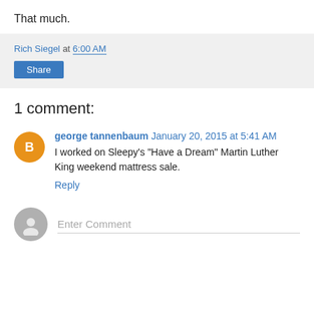That much.
Rich Siegel at 6:00 AM
Share
1 comment:
george tannenbaum January 20, 2015 at 5:41 AM
I worked on Sleepy's "Have a Dream" Martin Luther King weekend mattress sale.
Reply
Enter Comment